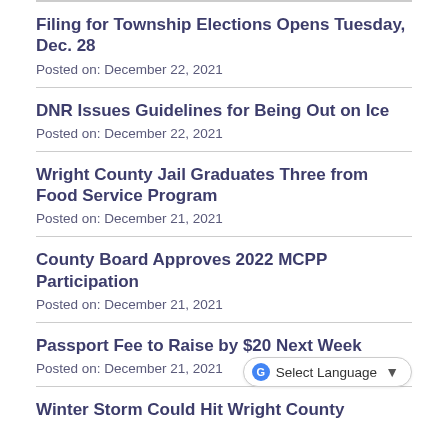Filing for Township Elections Opens Tuesday, Dec. 28
Posted on: December 22, 2021
DNR Issues Guidelines for Being Out on Ice
Posted on: December 22, 2021
Wright County Jail Graduates Three from Food Service Program
Posted on: December 21, 2021
County Board Approves 2022 MCPP Participation
Posted on: December 21, 2021
Passport Fee to Raise by $20 Next Week
Posted on: December 21, 2021
Winter Storm Could Hit Wright County